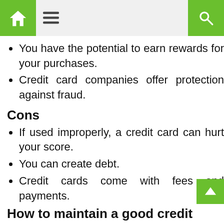Navigation bar with home and search icons
You have the potential to earn rewards for your purchases.
Credit card companies offer protection against fraud.
Cons
If used improperly, a credit card can hurt your score.
You can create debt.
Credit cards come with fees and payments.
How to maintain a good credit score